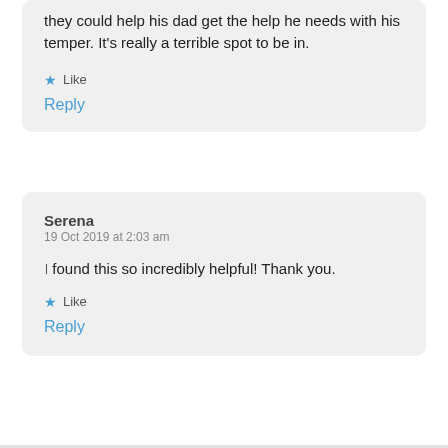they could help his dad get the help he needs with his temper. It's really a terrible spot to be in.
★ Like
Reply
Serena
19 Oct 2019 at 2:03 am
I found this so incredibly helpful! Thank you.
★ Like
Reply